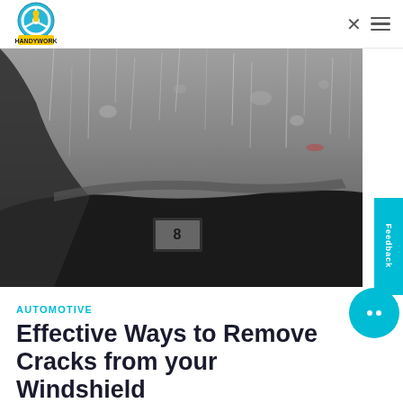HANDYWORK logo and navigation
[Figure (photo): View from inside a car looking through a rain-covered windshield with water droplets and wipers visible, black and white/grey tones]
AUTOMOTIVE
Effective Ways to Remove Cracks from your Windshield
2 min read
Cracks in your windshield can be a major distraction while driving